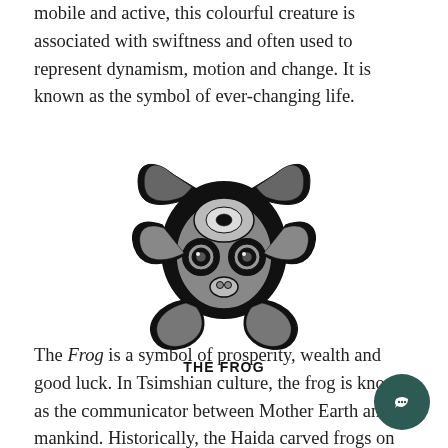mobile and active, this colourful creature is associated with swiftness and often used to represent dynamism, motion and change. It is known as the symbol of ever-changing life.
[Figure (illustration): A stylized Northwest Coast Indigenous art depiction of a frog, rendered in black and grey, with traditional formline design elements including ovoid eyes, wings/limbs curling outward, and intricate interior patterns.]
THE FROG
The Frog is a symbol of prosperity, wealth and good luck. In Tsimshian culture, the frog is known as the communicator between Mother Earth and mankind. Historically, the Haida carved frogs on their house posts to keep them from fal